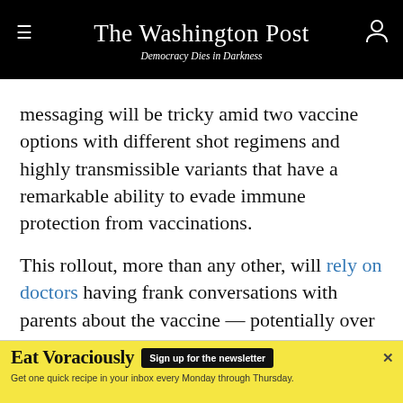The Washington Post — Democracy Dies in Darkness
messaging will be tricky amid two vaccine options with different shot regimens and highly transmissible variants that have a remarkable ability to evade immune protection from vaccinations.
This rollout, more than any other, will rely on doctors having frank conversations with parents about the vaccine — potentially over the course of several visits. It's likely there will be a gradual uptick in vaccinations among babies and young children, rather than a huge surge.
The Biden administration has already begun to...
[Figure (other): Advertisement banner for 'Eat Voraciously' newsletter. Yellow background with bold black text 'Eat Voraciously', a black 'Sign up for the newsletter' button, and subtext 'Get one quick recipe in your inbox every Monday through Thursday.']